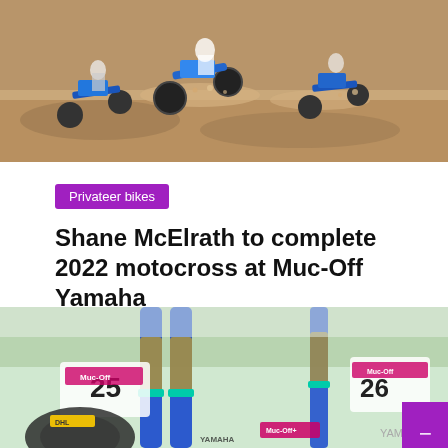[Figure (photo): Motocross racers on dirt track, multiple riders airborne and racing through sandy terrain]
Privateer bikes
Shane McElrath to complete 2022 motocross at Muc-Off Yamaha
Wiley C. Thompson   August 10, 2022
[Figure (photo): Close-up of blue Muc-Off Yamaha motocross bikes lined up in pit area, showing number plates 25 and 26]